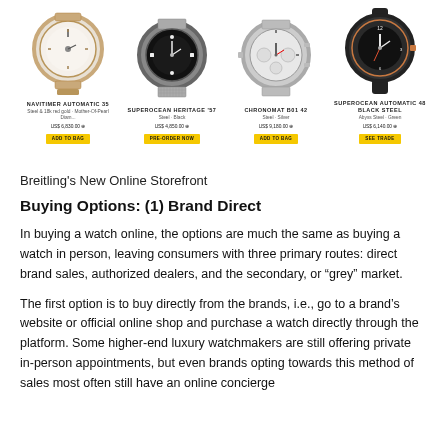[Figure (screenshot): Breitling online storefront screenshot showing four watches: Navitimer Automatic 35, Superocean Heritage '57, Chronomat B01 42, Superocean Automatic 48 Black Steel, with prices and add-to-bag/pre-order/see-trade buttons.]
Breitling's New Online Storefront
Buying Options: (1) Brand Direct
In buying a watch online, the options are much the same as buying a watch in person, leaving consumers with three primary routes: direct brand sales, authorized dealers, and the secondary, or “grey” market.
The first option is to buy directly from the brands, i.e., go to a brand’s website or official online shop and purchase a watch directly through the platform. Some higher-end luxury watchmakers are still offering private in-person appointments, but even brands opting towards this method of sales most often still have an online concierge